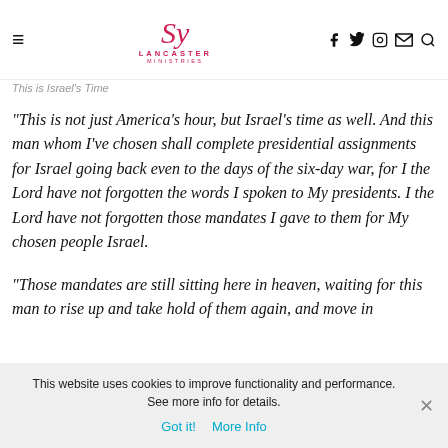Lancaster Ministries — navigation header with social icons
This is Israel's Time
“This is not just America’s hour, but Israel’s time as well. And this man whom I’ve chosen shall complete presidential assignments for Israel going back even to the days of the six-day war, for I the Lord have not forgotten the words I spoken to My presidents. I the Lord have not forgotten those mandates I gave to them for My chosen people Israel.
“Those mandates are still sitting here in heaven, waiting for this man to rise up and take hold of them again, and move in
This website uses cookies to improve functionality and performance. See more info for details.